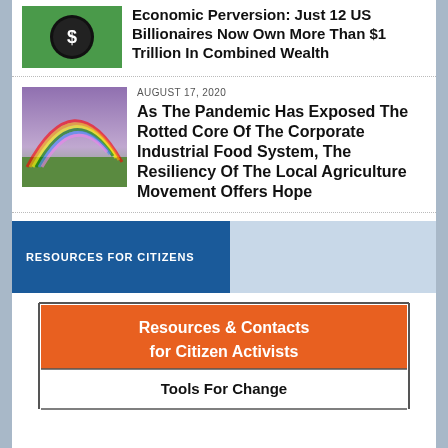Economic Perversion: Just 12 US Billionaires Now Own More Than $1 Trillion In Combined Wealth
[Figure (illustration): Green background thumbnail with a money bag icon showing a dollar sign]
AUGUST 17, 2020
As The Pandemic Has Exposed The Rotted Core Of The Corporate Industrial Food System, The Resiliency Of The Local Agriculture Movement Offers Hope
[Figure (photo): Outdoor landscape photo with a rainbow over green fields and a purple/stormy sky]
RESOURCES FOR CITIZENS
[Figure (infographic): Infographic with orange header reading 'Resources & Contacts for Citizen Activists' and white section below reading 'Tools For Change']